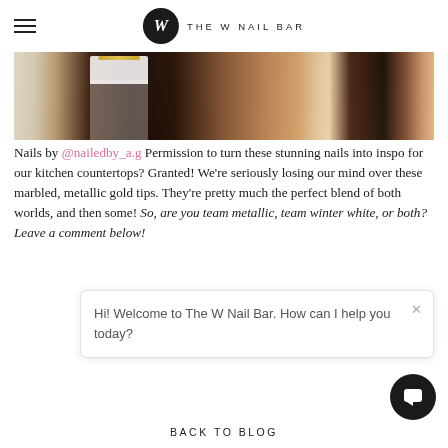W  THE W NAIL BAR
[Figure (photo): Close-up photo of dark-skinned hands with marbled white and metallic gold nail tips]
Nails by @nailedby_a.g Permission to turn these stunning nails into inspo for our kitchen countertops? Granted! We're seriously losing our mind over these marbled, metallic gold tips. They're pretty much the perfect blend of both worlds, and then some! So, are you team metallic, team winter white, or both? Leave a comment below!
Hi! Welcome to The W Nail Bar. How can I help you today?
BACK TO BLOG